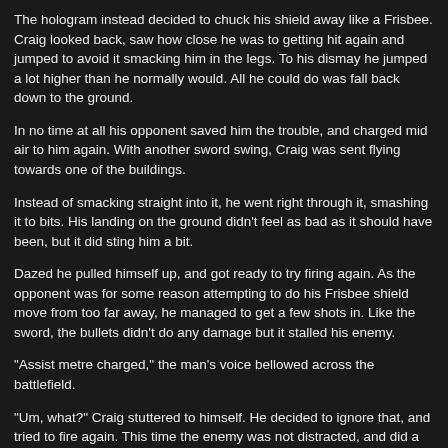The hologram instead decided to chuck his shield away like a Frisbee. Craig looked back, saw how close he was to getting hit again and jumped to avoid it smacking him in the legs. To his dismay he jumped a lot higher than he normally would. All he could do was fall back down to the ground.
In no time at all his opponent saved him the trouble, and charged mid air to him again. With another sword swing, Craig was sent flying towards one of the buildings.
Instead of smacking straight into it, he went right through it, smashing it to bits. His landing on the ground didn't feel as bad as it should have been, but it did sting him a bit.
Dazed he pulled himself up, and got ready to try firing again. As the opponent was for some reason attempting to do his Frisbee shield move from too far away, he managed to get a few shots in. Like the sword, the bullets didn't do any damage but it stalled his enemy.
"Assist metre charged," the man's voice bellowed across the battlefield.
"Um, what?" Craig stuttered to himself. He decided to ignore that, and tried to fire again. This time the enemy was not distracted, and did a few barrel rolls to avoid them.
Meanwhile Jessie was standing alone in a white room, looking a tad impatient. A large screen was nearby, showing the battle. A metre sized window like the other one appeared. On the screen it simply said "Assist?"